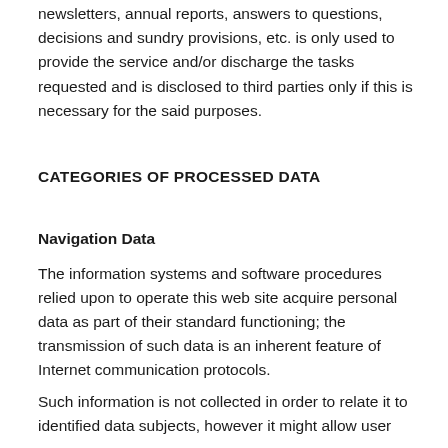to send information materials such as bulletins, circulars, newsletters, annual reports, answers to questions, decisions and sundry provisions, etc. is only used to provide the service and/or discharge the tasks requested and is disclosed to third parties only if this is necessary for the said purposes.
CATEGORIES OF PROCESSED DATA
Navigation Data
The information systems and software procedures relied upon to operate this web site acquire personal data as part of their standard functioning; the transmission of such data is an inherent feature of Internet communication protocols.
Such information is not collected in order to relate it to identified data subjects, however it might allow user